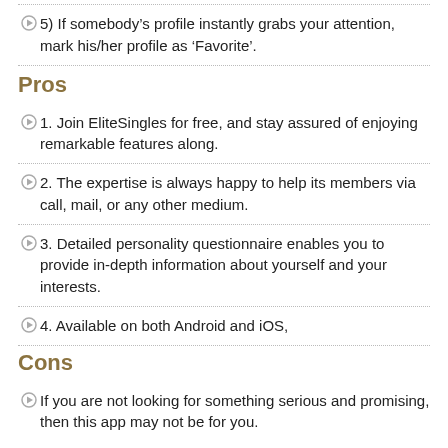5) If somebody's profile instantly grabs your attention, mark his/her profile as 'Favorite'.
Pros
1. Join EliteSingles for free, and stay assured of enjoying remarkable features along.
2. The expertise is always happy to help its members via call, mail, or any other medium.
3. Detailed personality questionnaire enables you to provide in-depth information about yourself and your interests.
4. Available on both Android and iOS,
Cons
If you are not looking for something serious and promising, then this app may not be for you.